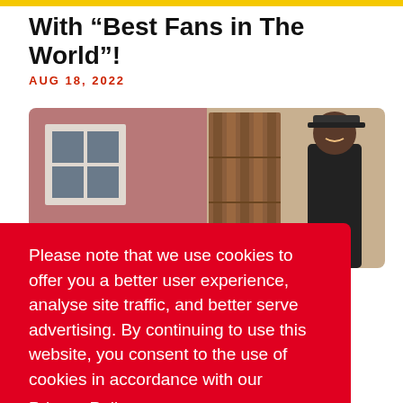With “Best Fans in The World”!
AUG 18, 2022
[Figure (photo): Outdoor photo showing a house exterior with a window on the left and a wooden garage door on the right, with a man wearing a cap standing near the garage door and smiling.]
Please note that we use cookies to offer you a better user experience, analyse site traffic, and better serve advertising. By continuing to use this website, you consent to the use of cookies in accordance with our
Privacy Policy
I Agree